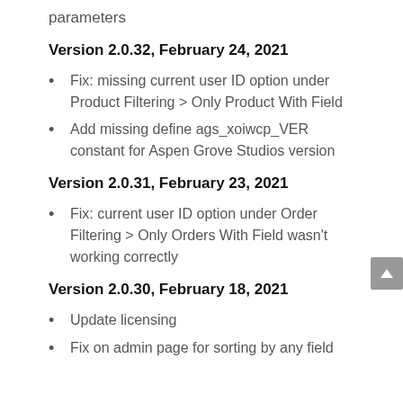parameters
Version 2.0.32, February 24, 2021
Fix: missing current user ID option under Product Filtering > Only Product With Field
Add missing define ags_xoiwcp_VER constant for Aspen Grove Studios version
Version 2.0.31, February 23, 2021
Fix: current user ID option under Order Filtering > Only Orders With Field wasn't working correctly
Version 2.0.30, February 18, 2021
Update licensing
Fix on admin page for sorting by any field